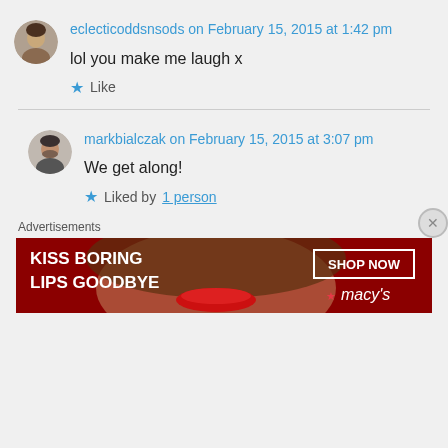eclecticoddsnsods on February 15, 2015 at 1:42 pm
lol you make me laugh x
Like
markbialczak on February 15, 2015 at 3:07 pm
We get along!
Liked by 1 person
Advertisements
[Figure (illustration): Macy's advertisement banner: 'KISS BORING LIPS GOODBYE' with SHOP NOW button and Macy's star logo, featuring a woman's face with red lips on dark red background]